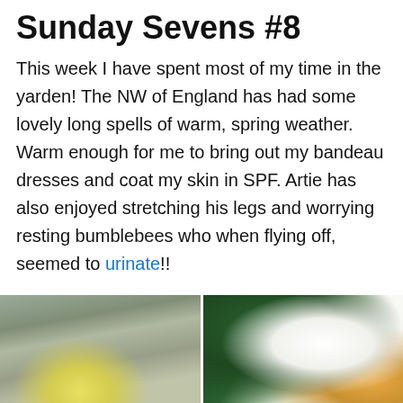Sunday Sevens #8
This week I have spent most of my time in the yarden! The NW of England has had some lovely long spells of warm, spring weather. Warm enough for me to bring out my bandeau dresses and coat my skin in SPF. Artie has also enjoyed stretching his legs and worrying resting bumblebees who when flying off, seemed to urinate!!
The yarden is looking verdant. Spring bulbs are flowering and trees/shrubs are heavy with dense foliage. The air has been laced with singing dunnocks/blackbirds and the happy buzz of bees and other pollinators.
[Figure (photo): Two garden photos side by side: left photo shows a pale stone wall background with a pale yellow flower (daffodil) and green stems; right photo shows a white flower (possibly a narcissus or azalea) with dark green foliage and an orange flower visible at the edge.]